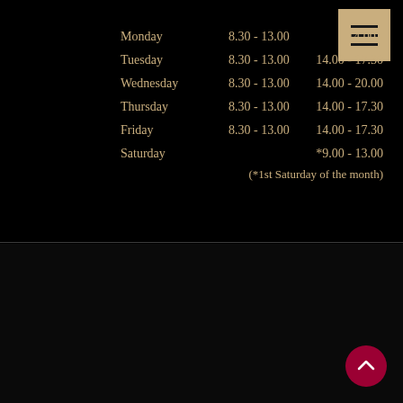| Day | Morning | Afternoon |
| --- | --- | --- |
| Monday | 8.30 - 13.00 | 14.00 - |
| Tuesday | 8.30 - 13.00 | 14.00 - 17.30 |
| Wednesday | 8.30 - 13.00 | 14.00 - 20.00 |
| Thursday | 8.30 - 13.00 | 14.00 - 17.30 |
| Friday | 8.30 - 13.00 | 14.00 - 17.30 |
| Saturday |  | *9.00 - 13.00 |
|  | (*1st Saturday of the month) |  |
Copyright © Rosebank Dental Practice. All rights reserved. Cookie & Privacy Policy Authorised: DFW DFVO Last Update: August 2022
[Figure (logo): Dental Focus logo — stylized df icon with text 'DENTAL WEBSITES BY DENTAL FOCUS']